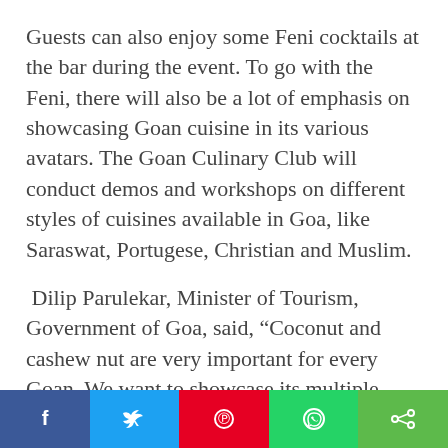Guests can also enjoy some Feni cocktails at the bar during the event. To go with the Feni, there will also be a lot of emphasis on showcasing Goan cuisine in its various avatars. The Goan Culinary Club will conduct demos and workshops on different styles of cuisines available in Goa, like Saraswat, Portugese, Christian and Muslim.
Dilip Parulekar, Minister of Tourism, Government of Goa, said, “Coconut and cashew nut are very important for every Goan. We want to showcase its multiple uses to the world. This festival will also offer visitors a glimpse into Goan culture. This is the first time we are organizing this event and are expecting tourists in large
[Figure (infographic): Social media sharing bar with five buttons: Facebook (blue), Twitter (light blue), Pinterest (red), WhatsApp (green), Share (green)]